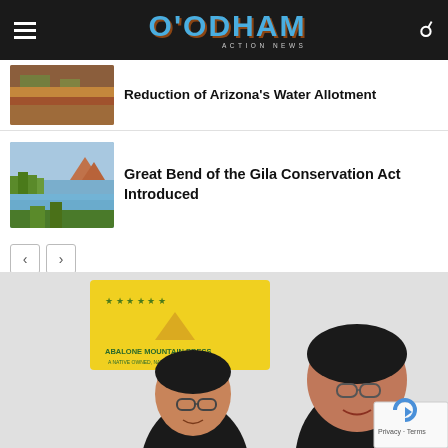O'ODHAM ACTION NEWS
Reduction of Arizona's Water Allotment
[Figure (photo): Aerial or ground view of arid farmland with red soil and green vegetation strips]
Great Bend of the Gila Conservation Act Introduced
[Figure (photo): River landscape with trees and rocky buttes in the background — the Great Bend of the Gila River]
[Figure (photo): Two women smiling in front of an Abalone Mountain Press yellow banner sign]